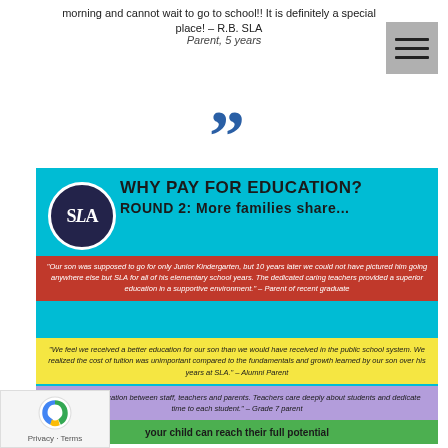morning and cannot wait to go to school!! It is definitely a special place! – R.B. SLA
Parent, 5 years
[Figure (illustration): Large closing quotation mark in dark blue, decorative]
[Figure (infographic): SLA school infographic titled 'WHY PAY FOR EDUCATION? ROUND 2: More families share...' on cyan background with SLA logo, containing multiple colored quote boxes (red, yellow, purple, green) with parent testimonials about the school]
"Our son was supposed to go for only Junior Kindergarten, but 10 years later we could not have pictured him going anywhere else but SLA for all of his elementary school years. The dedicated caring teachers provided a superior education in a supportive environment." – Parent of recent graduate
"We feel we received a better education for our son than we would have received in the public school system. We realized the cost of tuition was unimportant compared to the fundamentals and growth learned by our son over his years at SLA." – Alumni Parent
"Great communication between staff, teachers and parents. Teachers care deeply about students and dedicate time to each student." – Grade 7 parent
your child can reach their full potential